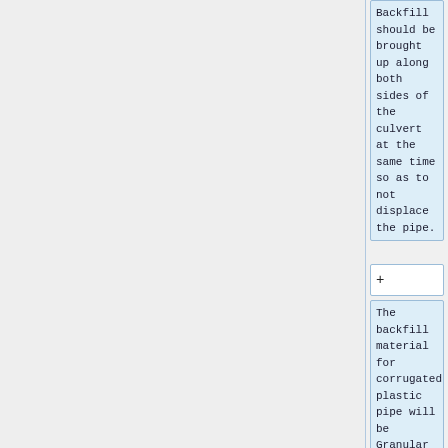Backfill should be brought up along both sides of the culvert at the same time so as to not displace the pipe.
+
The backfill material for corrugated plastic pipe will be Granular Material Class III or